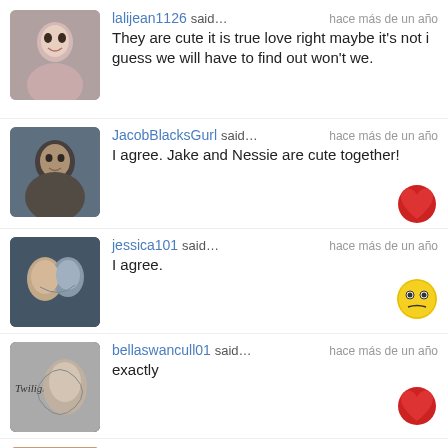lalijean1126 said… hace más de un año
They are cute it is true love right maybe it's not i guess we will have to find out won't we.
JacobBlacksGurl said… hace más de un año
I agree. Jake and Nessie are cute together!
jessica101 said… hace más de un año
I agree.
bellaswancull01 said… hace más de un año
exactly
twihardfan94 said… hace más de un año
Yeah Jake and Nessie are meant to be,bela finally has whats she wants edward ,and jacob as a friend.She should be happy and doesnt she